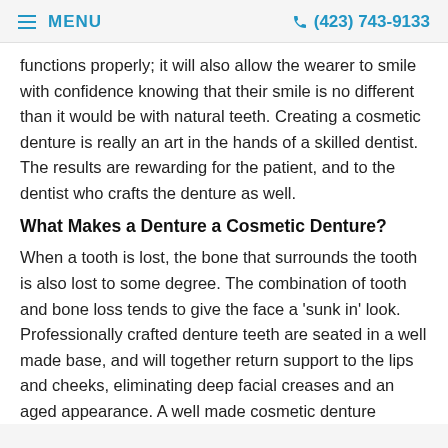≡ MENU   (423) 743-9133
functions properly; it will also allow the wearer to smile with confidence knowing that their smile is no different than it would be with natural teeth. Creating a cosmetic denture is really an art in the hands of a skilled dentist. The results are rewarding for the patient, and to the dentist who crafts the denture as well.
What Makes a Denture a Cosmetic Denture?
When a tooth is lost, the bone that surrounds the tooth is also lost to some degree. The combination of tooth and bone loss tends to give the face a 'sunk in' look. Professionally crafted denture teeth are seated in a well made base, and will together return support to the lips and cheeks, eliminating deep facial creases and an aged appearance. A well made cosmetic denture